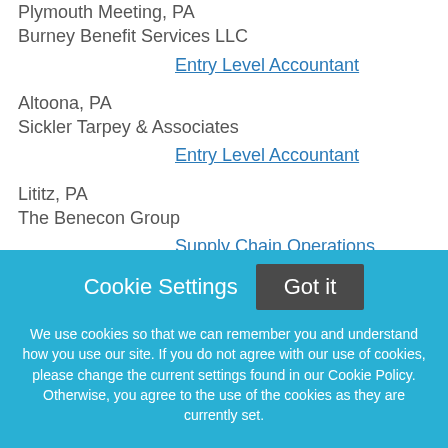Plymouth Meeting, PA
Burney Benefit Services LLC
Entry Level Accountant
Altoona, PA
Sickler Tarpey & Associates
Entry Level Accountant
Lititz, PA
The Benecon Group
Supply Chain Operations Manager - Chambersburg, PA (Starting Jan 2023 through Summer 2023)
Chambersburg, PA
Cookie Settings  Got it  We use cookies so that we can remember you and understand how you use our site. If you do not agree with our use of cookies, please change the current settings found in our Cookie Policy. Otherwise, you agree to the use of the cookies as they are currently set.